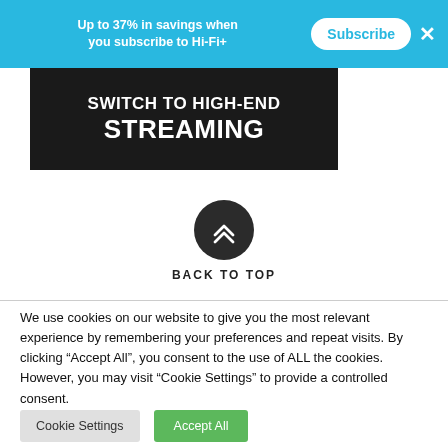Up to 37% in savings when you subscribe to Hi-Fi+  Subscribe  ×
[Figure (illustration): Dark background advertisement banner reading 'SWITCH TO HIGH-END STREAMING' in white bold uppercase text]
[Figure (other): Dark circular back-to-top button with double chevron arrow pointing up]
BACK TO TOP
We use cookies on our website to give you the most relevant experience by remembering your preferences and repeat visits. By clicking "Accept All", you consent to the use of ALL the cookies. However, you may visit "Cookie Settings" to provide a controlled consent.
Cookie Settings  Accept All